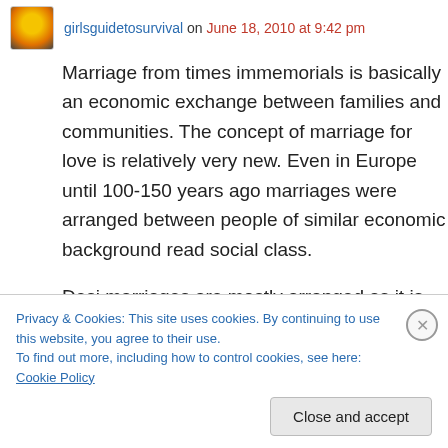girlsguidetosurvival on June 18, 2010 at 9:42 pm
Marriage from times immemorials is basically an economic exchange between families and communities. The concept of marriage for love is relatively very new. Even in Europe until 100-150 years ago marriages were arranged between people of similar economic background read social class.
Desi marriages are mostly arranged as it is definitely the family looking for a woman to
Privacy & Cookies: This site uses cookies. By continuing to use this website, you agree to their use.
To find out more, including how to control cookies, see here: Cookie Policy